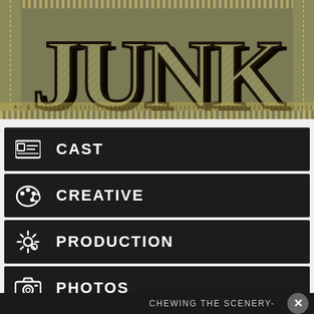[Figure (illustration): JUNK theatrical production title banner with large stylized text 'JUNK' on an olive/army green background with crosshatch texture and decorative border]
CAST
CREATIVE
PRODUCTION
PHOTOS
CHEWING THE SCENERY-
[Figure (advertisement): Advertisement for The Book of Mormon Broadway show. GET 2-FOR-1 TICKETS during NYC Broadway Week, September 6-25. Use code BWAYWK. GET TICKETS button.]